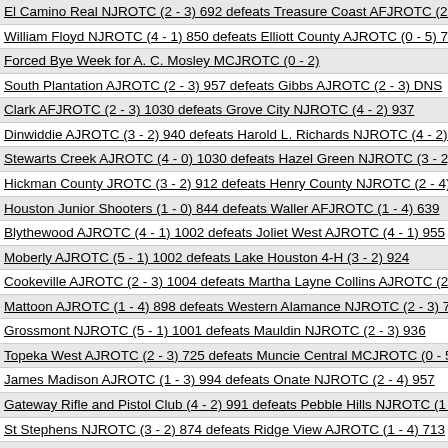El Camino Real NJROTC (2 - 3) 692 defeats Treasure Coast AFJROTC (2 - 4
William Floyd NJROTC (4 - 1) 850 defeats Elliott County AJROTC (0 - 5) 733
Forced Bye Week for A. C. Mosley MCJROTC (0 - 2)
South Plantation AJROTC (2 - 3) 957 defeats Gibbs AJROTC (2 - 3) DNS
Clark AFJROTC (2 - 3) 1030 defeats Grove City NJROTC (4 - 2) 937
Dinwiddie AJROTC (3 - 2) 940 defeats Harold L. Richards NJROTC (4 - 2) 86
Stewarts Creek AJROTC (4 - 0) 1030 defeats Hazel Green NJROTC (3 - 2) 9
Hickman County JROTC (3 - 2) 912 defeats Henry County NJROTC (2 - 4) 87
Houston Junior Shooters (1 - 0) 844 defeats Waller AFJROTC (1 - 4) 639
Blythewood AJROTC (4 - 1) 1002 defeats Joliet West AJROTC (4 - 1) 955
Moberly AJROTC (5 - 1) 1002 defeats Lake Houston 4-H (3 - 2) 924
Cookeville AJROTC (2 - 3) 1004 defeats Martha Layne Collins AJROTC (2 - 3
Mattoon AJROTC (1 - 4) 898 defeats Western Alamance NJROTC (2 - 3) 762
Grossmont NJROTC (5 - 1) 1001 defeats Mauldin NJROTC (2 - 3) 936
Topeka West AJROTC (2 - 3) 725 defeats Muncie Central MCJROTC (0 - 5) D
James Madison AJROTC (1 - 3) 994 defeats Onate NJROTC (2 - 4) 957
Gateway Rifle and Pistol Club (4 - 2) 991 defeats Pebble Hills NJROTC (1 - 4
St Stephens NJROTC (3 - 2) 874 defeats Ridge View AJROTC (1 - 4) 713
Tempe Union AJROTC (5 - 0) 1003 defeats Robert G. Cole AJROTC (1 - 4) 9
Warren Central MCJROTC (4 - 0) 1002 defeats Santa Clara Valley Rifle Club
Seneca Valley AJROTC (3 - 2) 984 defeats Dallastown Area MCJROTC (2 - 3
Washburn Rural AFJROTC (3 - 2) 886 defeats Shoals American Legion (1 - 4
Southern Indiana Sharpshooters (3 - 2) 858 defeats Hirschi AJROTC (3 - 2) D
West Broward AJROTC (5 - 0) 1033 defeats St Pauls AJROTC (3 - 2) 958
Joliet Central AJROTC (3 - 2) 1012 defeats Stranahan MCJROTC (2 - 3) 957
United Postal MCJROTC (4 - 1) AJROTc Acorn... ville AJROTC (4 - N...